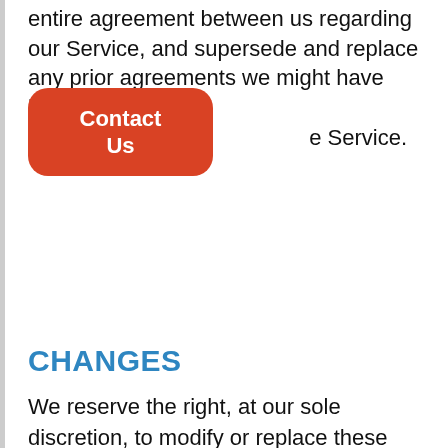entire agreement between us regarding our Service, and supersede and replace any prior agreements we might have had between us regarding the Service.
[Figure (other): Red rounded rectangle button with white bold text reading 'Contact Us']
CHANGES
We reserve the right, at our sole discretion, to modify or replace these Terms at any time. If a revision is material we will provide at least 30 days notice prior to any new terms taking effect. What constitutes a material change will be determined at our sole discretion.
By continuing to access or use our Service after any revisions become effective, you agree to be bound by the revised terms. If you do not agree to the new terms, you are no longer